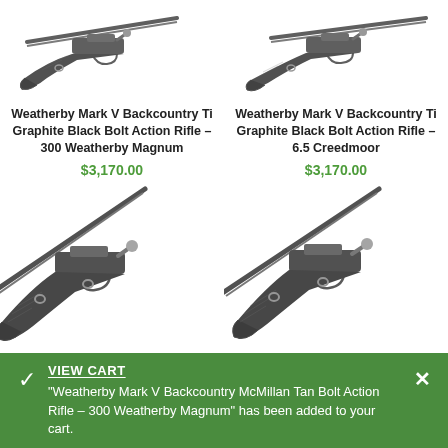[Figure (photo): Weatherby Mark V Backcountry Ti Graphite Black bolt action rifle, top-left product image (partially cropped at top)]
Weatherby Mark V Backcountry Ti Graphite Black Bolt Action Rifle – 300 Weatherby Magnum
$3,170.00
[Figure (photo): Weatherby Mark V Backcountry Ti Graphite Black bolt action rifle, top-right product image (partially cropped at top)]
Weatherby Mark V Backcountry Ti Graphite Black Bolt Action Rifle – 6.5 Creedmoor
$3,170.00
[Figure (photo): Weatherby bolt action rifle product image, bottom-left, partially visible (cropped)]
[Figure (photo): Weatherby bolt action rifle product image, bottom-right, partially visible (cropped)]
VIEW CART
“Weatherby Mark V Backcountry McMillan Tan Bolt Action Rifle – 300 Weatherby Magnum” has been added to your cart.